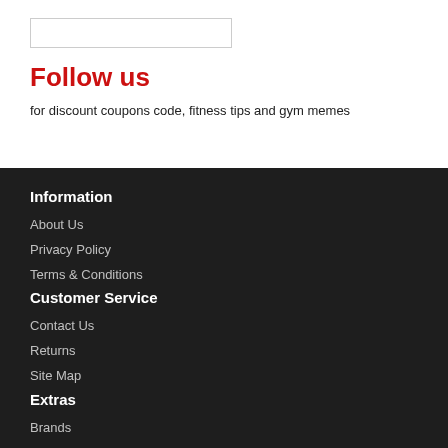Follow us
for discount coupons code, fitness tips and gym memes
Information
About Us
Privacy Policy
Terms & Conditions
Customer Service
Contact Us
Returns
Site Map
Extras
Brands
Gift Vouchers